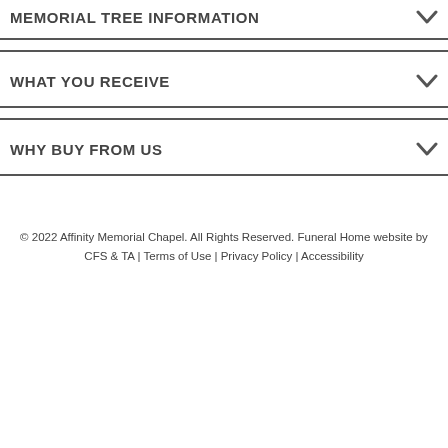MEMORIAL TREE INFORMATION
WHAT YOU RECEIVE
WHY BUY FROM US
© 2022 Affinity Memorial Chapel. All Rights Reserved. Funeral Home website by CFS & TA | Terms of Use | Privacy Policy | Accessibility